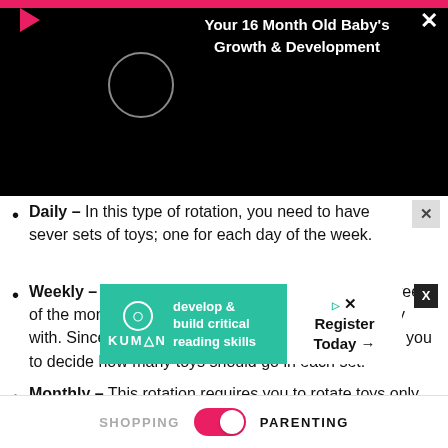[Figure (screenshot): Video player overlay with black background, pink top bar, red play triangle icon, white X close button, circular spinner icon, and white bold text title 'Your 16 Month Old Baby's Growth & Development']
Daily – In this type of rotation, you need to have several sets of toys; one for each day of the week.
Weekly – Here, you require 4 sets of toys for each week of the month. The child will get one set of toys to play with. Since you know your child well, it is solely up to you to decide how many toys should go in each set.
Monthly – This rotation requires you to rotate toys only once a month. 3 to 6 boxes of toys are enough. However, if you could have
[Figure (screenshot): Kumon advertisement banner with teal background showing Kumon logo and text 'develop & build critical reading skills' and white Register Today button]
SHOPPING    PARENTING